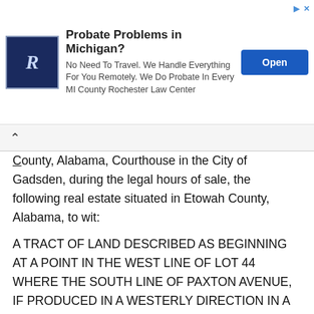[Figure (other): Advertisement banner: Probate Problems in Michigan? No Need To Travel. We Handle Everything For You Remotely. We Do Probate In Every MI County Rochester Law Center. Open button.]
County, Alabama, Courthouse in the City of Gadsden, during the legal hours of sale, the following real estate situated in Etowah County, Alabama, to wit:
A TRACT OF LAND DESCRIBED AS BEGINNING AT A POINT IN THE WEST LINE OF LOT 44 WHERE THE SOUTH LINE OF PAXTON AVENUE, IF PRODUCED IN A WESTERLY DIRECTION IN A CONTINUOUS STRAIGHT LINE, WOULD INTERSECT THE WEST LINE OF SAID LOT 44, AND THENCE RUN IN AN EASTERLY DIRECTION, PARALLEL WITH THE NORTH LINES OF LOTS 44, 46, AND 48, AND ALONG THE PRODUCTION OF THE SOUTH